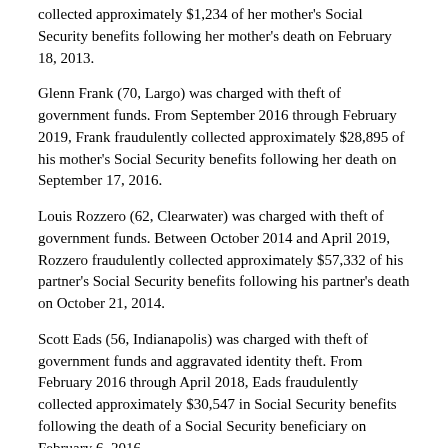collected approximately $1,234 of her mother's Social Security benefits following her mother's death on February 18, 2013.
Glenn Frank (70, Largo) was charged with theft of government funds. From September 2016 through February 2019, Frank fraudulently collected approximately $28,895 of his mother's Social Security benefits following her death on September 17, 2016.
Louis Rozzero (62, Clearwater) was charged with theft of government funds. Between October 2014 and April 2019, Rozzero fraudulently collected approximately $57,332 of his partner's Social Security benefits following his partner's death on October 21, 2014.
Scott Eads (56, Indianapolis) was charged with theft of government funds and aggravated identity theft. From February 2016 through April 2018, Eads fraudulently collected approximately $30,547 in Social Security benefits following the death of a Social Security beneficiary on February 6, 2016.
Ronald Harshman (53, St. Cloud) was charged with theft of government funds. From August 2013 through May 2019, Harshman fraudulently collected approximately $62,341 of his father's Social Security benefits following his father's death on August 11, 2013.